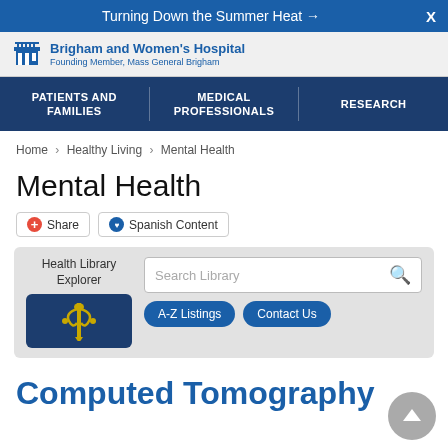Turning Down the Summer Heat →
[Figure (logo): Brigham and Women's Hospital logo with building icon, 'Brigham and Women's Hospital', 'Founding Member, Mass General Brigham']
PATIENTS AND FAMILIES | MEDICAL PROFESSIONALS | RESEARCH
Home › Healthy Living › Mental Health
Mental Health
Share   Spanish Content
Health Library Explorer — Search Library — A-Z Listings — Contact Us
Computed Tomography